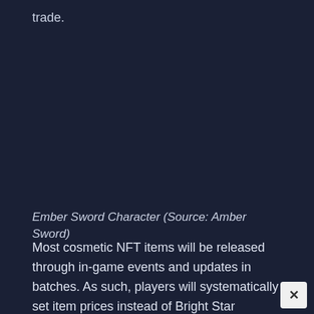trade.
Ember Sword Character (Source: Amber Sword)
Most cosmetic NFT items will be released through in-game events and updates in batches. As such, players will systematically set item prices instead of Bright Star depending on how much certain items cost. The marketplace is open to anyone